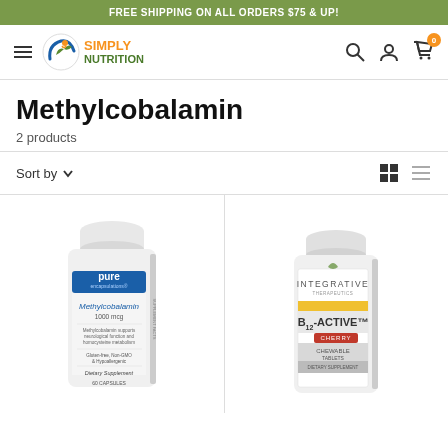FREE SHIPPING ON ALL ORDERS $75 & UP!
[Figure (logo): Simply Nutrition logo with hamburger menu, search, account, and cart icons in navigation bar]
Methylcobalamin
2 products
Sort by
[Figure (photo): Pure Encapsulations Methylcobalamin 1000 mcg supplement bottle, white plastic, 60 capsules, dietary supplement]
[Figure (photo): Integrative Therapeutics B12-Active Cherry Chewable Tablets supplement bottle, white plastic, dietary supplement]